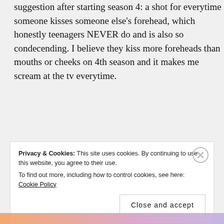suggestion after starting season 4: a shot for everytime someone kisses someone else's forehead, which honestly teenagers NEVER do and is also so condecending. I believe they kiss more foreheads than mouths or cheeks on 4th season and it makes me scream at the tv everytime.
★ Like
Reply
Privacy & Cookies: This site uses cookies. By continuing to use this website, you agree to their use.
To find out more, including how to control cookies, see here: Cookie Policy
Close and accept